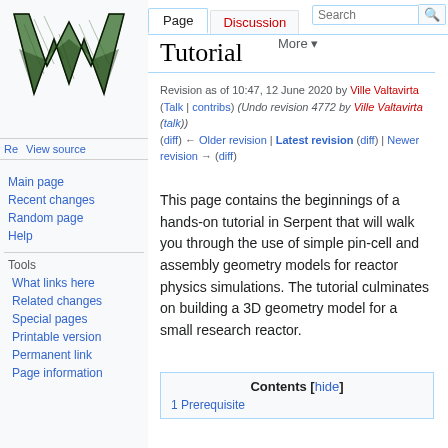Create account  Log in
[Figure (logo): Wikipedia W logo, stylized green and black letter W]
Re… View source  More ▾  Search [Page] [Discussion]
Tutorial
Revision as of 10:47, 12 June 2020 by Ville Valtavirta (Talk | contribs) (Undo revision 4772 by Ville Valtavirta (talk))
(diff) ← Older revision | Latest revision (diff) | Newer revision → (diff)
Main page
Recent changes
Random page
Help
Tools
What links here
Related changes
Special pages
Printable version
Permanent link
Page information
This page contains the beginnings of a hands-on tutorial in Serpent that will walk you through the use of simple pin-cell and assembly geometry models for reactor physics simulations. The tutorial culminates on building a 3D geometry model for a small research reactor.
Contents [hide]
1 Prerequisite